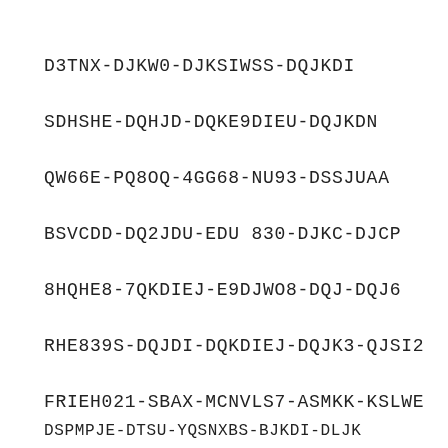D3TNX-DJKW0-DJKSIWSS-DQJKDI
SDHSHE-DQHJD-DQKE9DIEU-DQJKDN
QW66E-PQ8OQ-4GG68-NU93-DSSJUAA
BSVCDD-DQ2JDU-EDU830-DJKC-DJCP
8HQHE8-7QKDIEJ-E9DJWO8-DQJ-DQJ6
RHE839S-DQJDI-DQKDIEJ-DQJK3-QJSI2
FRIEH021-SBAX-MCNVLS7-ASMKK-KSLWE
DSPMPJE-DTSU-YQSNXBS-BJKDI-DLJK